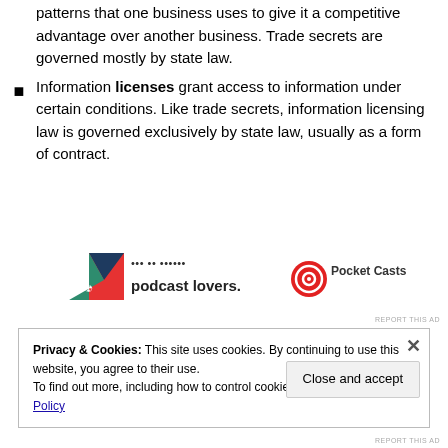patterns that one business uses to give it a competitive advantage over another business. Trade secrets are governed mostly by state law.
Information licenses grant access to information under certain conditions. Like trade secrets, information licensing law is governed exclusively by state law, usually as a form of contract.
[Figure (infographic): Advertisement banner for Pocket Casts podcast app with logo and text 'podcast lovers.' with partially visible top text]
Privacy & Cookies: This site uses cookies. By continuing to use this website, you agree to their use. To find out more, including how to control cookies, see here: Cookie Policy
Close and accept